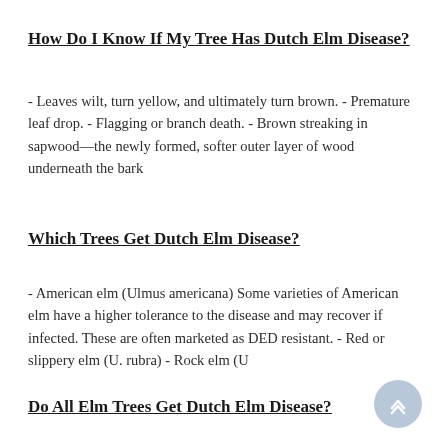How Do I Know If My Tree Has Dutch Elm Disease?
- Leaves wilt, turn yellow, and ultimately turn brown. - Premature leaf drop. - Flagging or branch death. - Brown streaking in sapwood—the newly formed, softer outer layer of wood underneath the bark
Which Trees Get Dutch Elm Disease?
- American elm (Ulmus americana) Some varieties of American elm have a higher tolerance to the disease and may recover if infected. These are often marketed as DED resistant. - Red or slippery elm (U. rubra) - Rock elm (U
Do All Elm Trees Get Dutch Elm Disease?